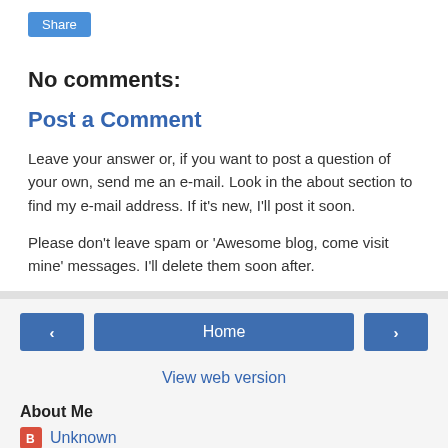[Figure (other): Share button — blue rounded rectangle with white text 'Share']
No comments:
Post a Comment
Leave your answer or, if you want to post a question of your own, send me an e-mail. Look in the about section to find my e-mail address. If it's new, I'll post it soon.
Please don't leave spam or 'Awesome blog, come visit mine' messages. I'll delete them soon after.
[Figure (other): Navigation bar with left arrow button, Home button, and right arrow button]
View web version
About Me
Unknown